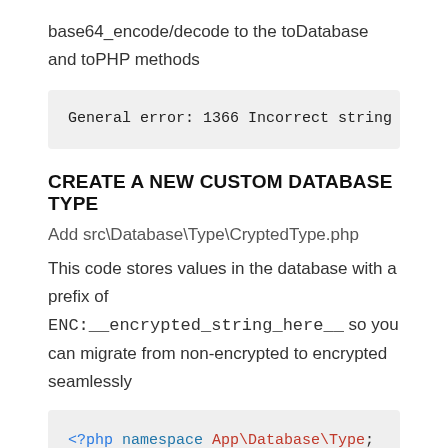base64_encode/decode to the toDatabase and toPHP methods
[Figure (screenshot): Code block showing: General error: 1366 Incorrect string]
CREATE A NEW CUSTOM DATABASE TYPE
Add src\Database\Type\CryptedType.php
This code stores values in the database with a prefix of ENC:__encrypted_string_here__ so you can migrate from non-encrypted to encrypted seamlessly
[Figure (screenshot): PHP code block showing: <?php and namespace App\Database\Type;]